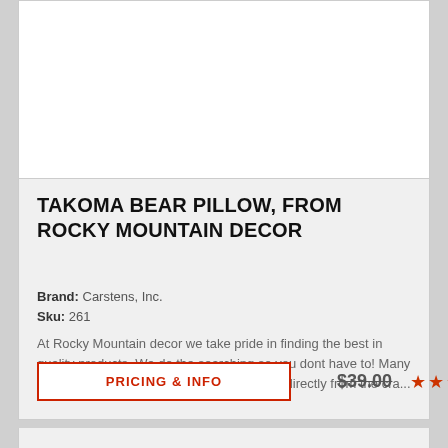[Figure (photo): White product card area (image placeholder at top)]
TAKOMA BEAR PILLOW, FROM ROCKY MOUNTAIN DECOR
Brand: Carstens, Inc.
Sku: 261
At Rocky Mountain decor we take pride in finding the best in quality products. We do the searching so you dont have to! Many of these items are made-to-order, and ship directly from the cra...
PRICING & INFO   $39.00  ★★★★★